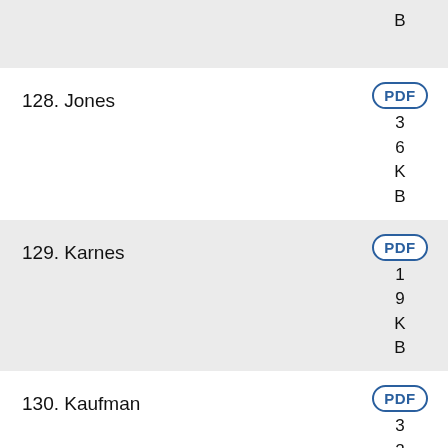B (partial, top)
128. Jones PDF 3 6 K B
129. Karnes PDF 1 9 K B
130. Kaufman PDF 3 2 K B